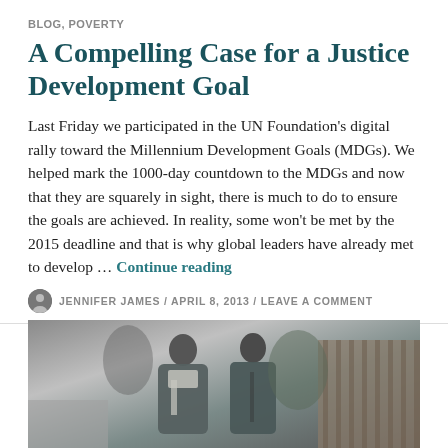BLOG, POVERTY
A Compelling Case for a Justice Development Goal
Last Friday we participated in the UN Foundation's digital rally toward the Millennium Development Goals (MDGs). We helped mark the 1000-day countdown to the MDGs and now that they are squarely in sight, there is much to do to ensure the goals are achieved. In reality, some won't be met by the 2015 deadline and that is why global leaders have already met to develop … Continue reading
JENNIFER JAMES / APRIL 8, 2013 / LEAVE A COMMENT
[Figure (photo): Black and white photo of two people standing outdoors, wearing jackets and scarves]